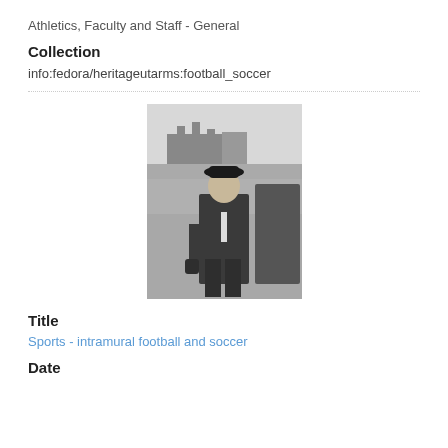Athletics, Faculty and Staff - General
Collection
info:fedora/heritageutarms:football_soccer
[Figure (photo): Black and white photograph of a man in a suit and bowler hat standing on a grass field, with a crowd and brick building visible in the background.]
Title
Sports - intramural football and soccer
Date